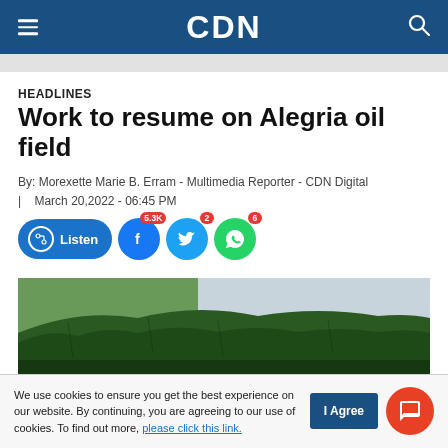CDN
HEADLINES
Work to resume on Alegria oil field
By: Morexette Marie B. Erram - Multimedia Reporter - CDN Digital | March 20,2022 - 06:45 PM
[Figure (infographic): Social sharing bar with Listen button, Facebook (5.3K), Twitter (2), WhatsApp (6) share buttons]
[Figure (photo): Landscape photo showing dense green forested hillside with overcast sky]
We use cookies to ensure you get the best experience on our website. By continuing, you are agreeing to our use of cookies. To find out more, please click this link.